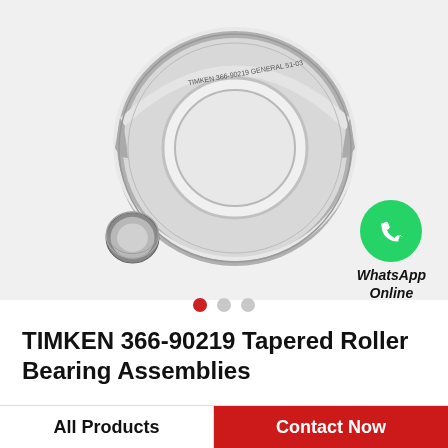[Figure (photo): TIMKEN 366-90219 Tapered Roller Bearing Assemblies product photo showing a large ring-shaped bearing and a smaller cup component, on a light gray background]
[Figure (logo): WhatsApp green bubble icon with phone handset graphic, labeled 'WhatsApp Online' in italic bold text]
TIMKEN 366-90219 Tapered Roller Bearing Assemblies
All Products
Contact Now